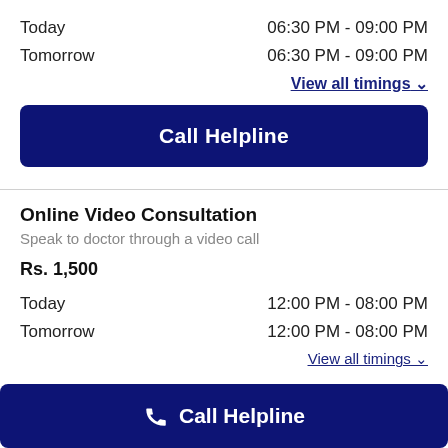Today   06:30 PM - 09:00 PM
Tomorrow   06:30 PM - 09:00 PM
View all timings ∨
Call Helpline
Online Video Consultation
Speak to doctor through a video call
Rs. 1,500
Today   12:00 PM - 08:00 PM
Tomorrow   12:00 PM - 08:00 PM
View all timings ∨
Call Helpline